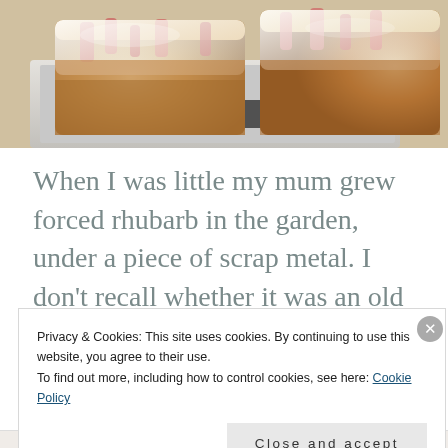[Figure (photo): Close-up photograph of sliced rhubarb cake or pastry dusted with powdered sugar, on a cutting board with a knife visible]
When I was little my mum grew forced rhubarb in the garden, under a piece of scrap metal. I don't recall whether it was an old sink or an oil drum, but what I do remember is the amazing
Privacy & Cookies: This site uses cookies. By continuing to use this website, you agree to their use.
To find out more, including how to control cookies, see here: Cookie Policy
Close and accept
About me »